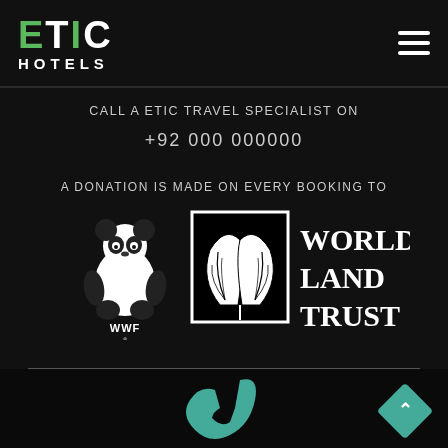[Figure (logo): ETIC Hotels logo in top-left header with green E, T, I, C letters and white HOTELS text below]
CALL A ETIC TRAVEL SPECIALIST ON
+92 000 000000
A DONATION IS MADE ON EVERY BOOKING TO
[Figure (logo): WWF panda logo in white on dark background with WWF text below]
[Figure (logo): World Land Trust logo - square frame with leaf/plant illustration and WORLD LAND TRUST text to the right]